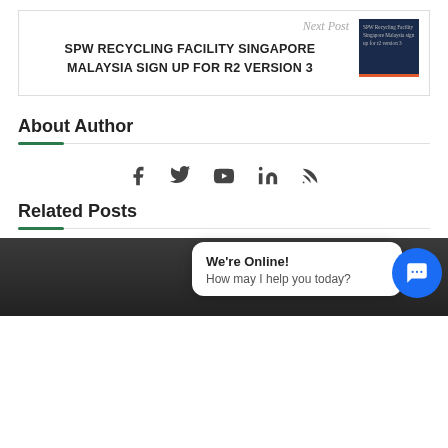Next Post
SPW RECYCLING FACILITY SINGAPORE MALAYSIA SIGN UP FOR R2 VERSION 3
About Author
[Figure (infographic): Social media icons: Facebook, Twitter, YouTube, LinkedIn, RSS]
Related Posts
[Figure (screenshot): We're Online! How may I help you today? chat bubble overlay with blue chat button]